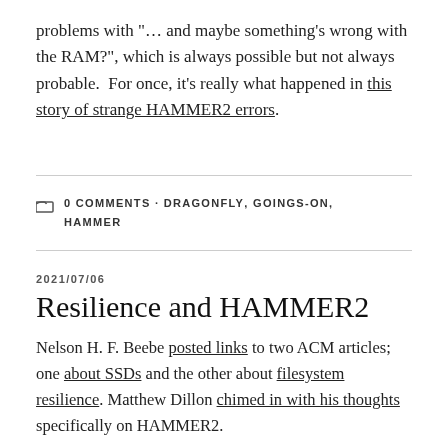problems with "… and maybe something's wrong with the RAM?", which is always possible but not always probable.  For once, it's really what happened in this story of strange HAMMER2 errors.
0 COMMENTS · DRAGONFLY, GOINGS-ON, HAMMER
2021/07/06
Resilience and HAMMER2
Nelson H. F. Beebe posted links to two ACM articles; one about SSDs and the other about filesystem resilience. Matthew Dillon chimed in with his thoughts specifically on HAMMER2.